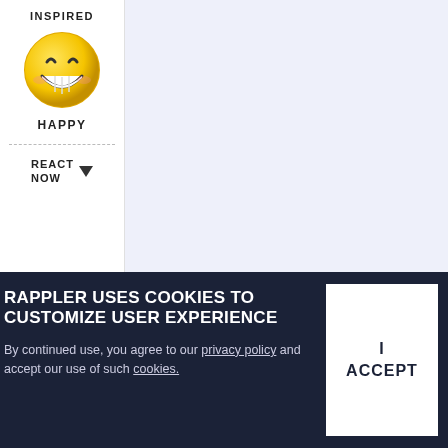INSPIRED
[Figure (illustration): Yellow smiley face emoji with big grin and closed eyes]
HAPPY
REACT NOW
Pia Ranada
@PIARANADA
RAPPLER USES COOKIES TO CUSTOMIZE USER EXPERIENCE
By continued use, you agree to our privacy policy and accept our use of such cookies.
I ACCEPT